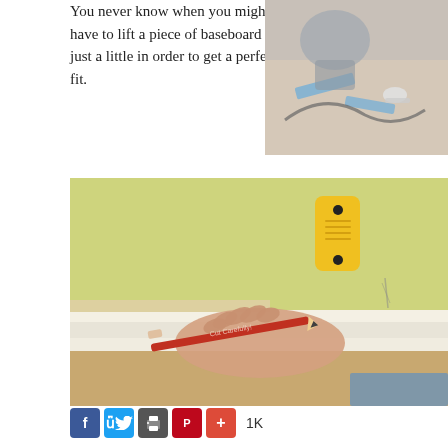You never know when you might have to lift a piece of baseboard just a little in order to get a perfect fit.
[Figure (photo): Top right photo showing a person kneeling on the floor with blue painter's tape and tools visible]
[Figure (photo): Large photo of a hand holding a red pencil marked 'Cut Carefully!' marking a white baseboard against a yellow wall, with a yellow stud finder on the wall above]
1K